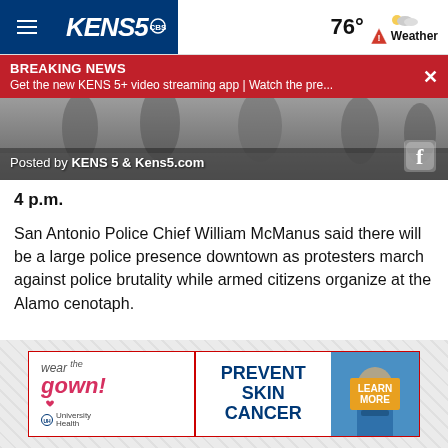KENS5 | 76° Weather
BREAKING NEWS
Get the new KENS 5+ video streaming app | Watch the pre...
[Figure (screenshot): Video thumbnail showing people walking, with 'Posted by KENS 5 & Kens5.com' overlay and Facebook icon]
4 p.m.
San Antonio Police Chief William McManus said there will be a large police presence downtown as protesters march against police brutality while armed citizens organize at the Alamo cenotaph.
[Figure (photo): Advertisement banner: wear the gown! PREVENT SKIN CANCER | LEARN MORE — University Health]